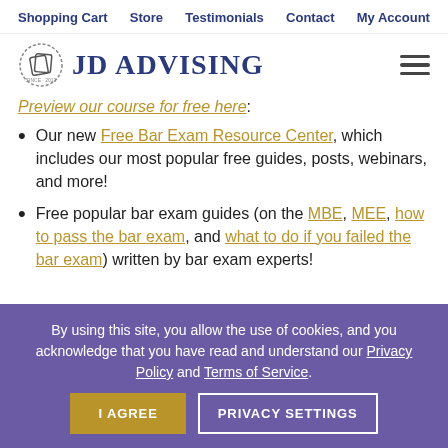Shopping Cart  Store  Testimonials  Contact  My Account
[Figure (logo): JD Advising logo with circular stamp icon and bold serif text]
Preview our course for free here:
Our new Free Bar Exam Resource Center, which includes our most popular free guides, posts, webinars, and more!
Free popular bar exam guides (on the MBE, MEE, how to pass the bar exam, and what to do if you failed the bar exam) written by bar exam experts!
By using this site, you allow the use of cookies, and you acknowledge that you have read and understand our Privacy Policy and Terms of Service.